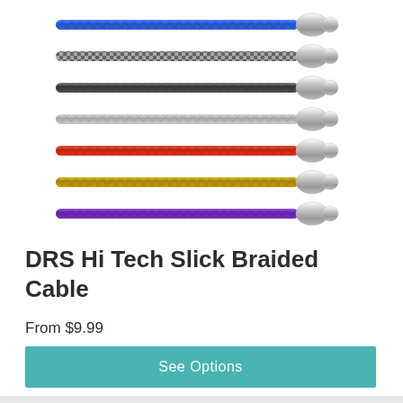[Figure (photo): Seven braided bicycle cables arranged in horizontal rows, each in a different color (blue, silver/checkered, dark gray/black, light gray/silver, red, gold/yellow, purple), each with a silver barrel end cap on the right side.]
DRS Hi Tech Slick Braided Cable
From $9.99
See Options